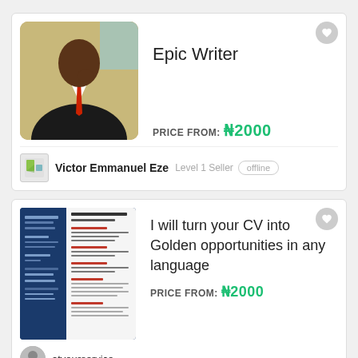[Figure (photo): Profile photo of a man in a black suit and red tie]
Epic Writer
PRICE FROM: ₦2000
[Figure (photo): Small seller avatar thumbnail with landscape icon]
Victor Emmanuel Eze
Level 1 Seller  offline
[Figure (screenshot): CV/resume document preview with blue sidebar showing experience, languages, software skills, and training sections]
I will turn your CV into Golden opportunities in any language
PRICE FROM: ₦2000
[Figure (photo): Circular seller avatar for atyourservice]
atyourservice